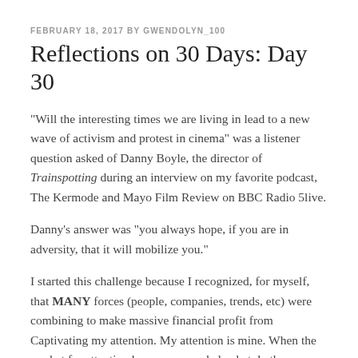FEBRUARY 18, 2017 BY GWENDOLYN_100
Reflections on 30 Days: Day 30
“Will the interesting times we are living in lead to a new wave of activism and protest in cinema” was a listener question asked of Danny Boyle, the director of Trainspotting during an interview on my favorite podcast, The Kermode and Mayo Film Review on BBC Radio 5live.
Danny’s answer was “you always hope, if you are in adversity, that it will mobilize you.”
I started this challenge because I recognized, for myself, that MANY forces (people, companies, trends, etc) were combining to make massive financial profit from Captivating my attention. My attention is mine. When the market for attention becomes crowded, what do these